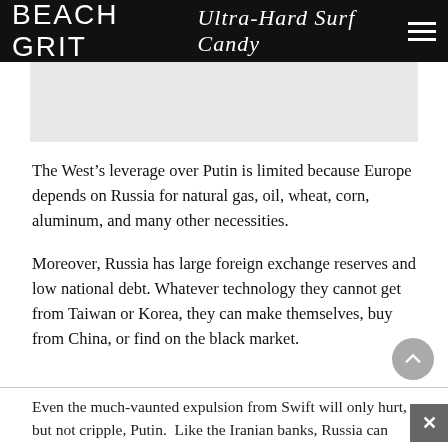BEACH GRIT Ultra-Hard Surf Candy
[Figure (other): Light gray image placeholder rectangle]
The West’s leverage over Putin is limited because Europe depends on Russia for natural gas, oil, wheat, corn, aluminum, and many other necessities.
Moreover, Russia has large foreign exchange reserves and low national debt. Whatever technology they cannot get from Taiwan or Korea, they can make themselves, buy from China, or find on the black market.
Even the much-vaunted expulsion from Swift will only hurt, but not cripple, Putin.  Like the Iranian banks, Russia can